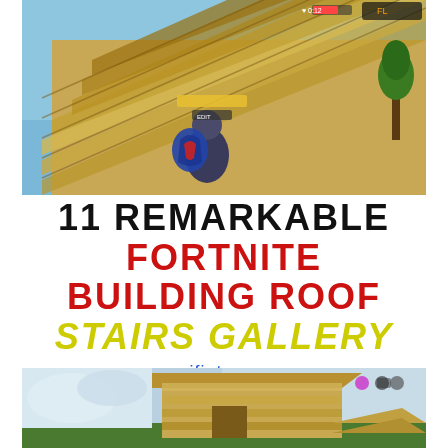[Figure (screenshot): Fortnite game screenshot showing a character standing in front of a large wooden staircase/ramp structure with blue sky background]
11 REMARKABLE FORTNITE BUILDING ROOF STAIRS GALLERY
rifjet.com
[Figure (screenshot): Fortnite game screenshot showing a wooden building structure with a roof and stairs, game UI visible in upper right]